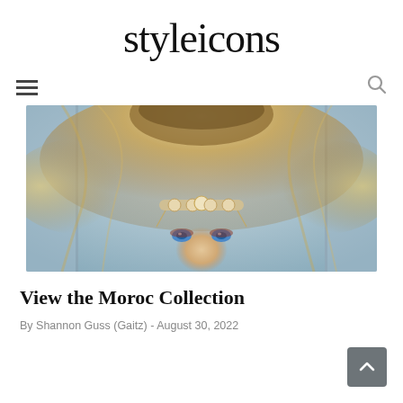styleicons
[Figure (photo): Navigation bar with hamburger menu icon on the left and search icon on the right]
[Figure (photo): Fashion photo of a blonde woman wearing an ornate headpiece/crown with jewels, photographed from above with hair spread out, blue eyes visible, against a light blue-grey background]
View the Moroc Collection
By Shannon Guss (Gaitz) - August 30, 2022